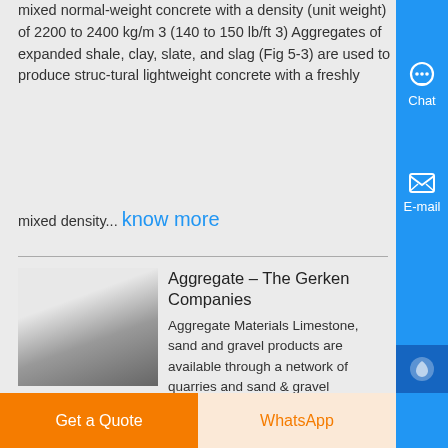mixed normal-weight concrete with a density (unit weight) of 2200 to 2400 kg/m3 (140 to 150 lb/ft3) Aggregates of expanded shale, clay, slate, and slag (Fig 5-3) are used to produce struc-tural lightweight concrete with a freshly
mixed density... know more
[Figure (photo): Black and white photo of industrial/construction equipment]
Aggregate – The Gerken Companies
Aggregate Materials Limestone, sand and gravel products are available through a network of quarries and sand & gravel production facilities conveniently located throughout northwest Ohio and southeast Michigan We have the stock, selection and locations to give our customers a cost-effective and simplified aggregate material
Get a Quote
WhatsApp